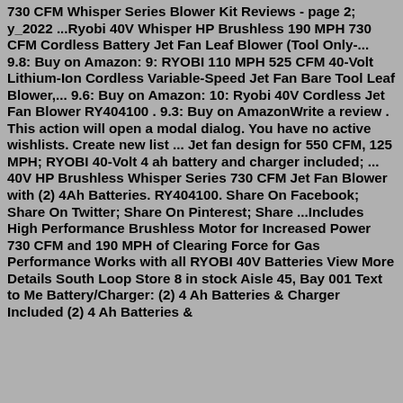730 CFM Whisper Series Blower Kit Reviews - page 2; y_2022 ...Ryobi 40V Whisper HP Brushless 190 MPH 730 CFM Cordless Battery Jet Fan Leaf Blower (Tool Only-... 9.8: Buy on Amazon: 9: RYOBI 110 MPH 525 CFM 40-Volt Lithium-Ion Cordless Variable-Speed Jet Fan Bare Tool Leaf Blower,... 9.6: Buy on Amazon: 10: Ryobi 40V Cordless Jet Fan Blower RY404100 . 9.3: Buy on AmazonWrite a review . This action will open a modal dialog. You have no active wishlists. Create new list ... Jet fan design for 550 CFM, 125 MPH; RYOBI 40-Volt 4 ah battery and charger included; ... 40V HP Brushless Whisper Series 730 CFM Jet Fan Blower with (2) 4Ah Batteries. RY404100. Share On Facebook; Share On Twitter; Share On Pinterest; Share ...Includes High Performance Brushless Motor for Increased Power 730 CFM and 190 MPH of Clearing Force for Gas Performance Works with all RYOBI 40V Batteries View More Details South Loop Store 8 in stock Aisle 45, Bay 001 Text to Me Battery/Charger: (2) 4 Ah Batteries & Charger Included (2) 4 Ah Batteries &